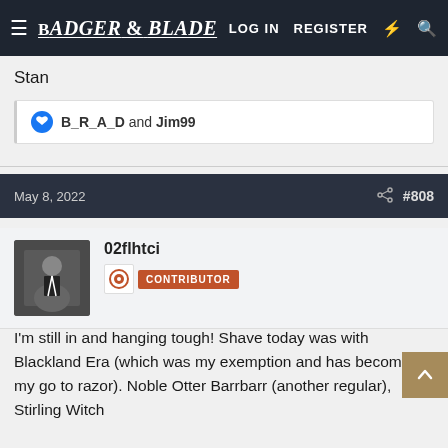Badger & Blade — LOG IN  REGISTER
Stan
B_R_A_D and Jim99
May 8, 2022   #808
02flhtci
CONTRIBUTOR
I'm still in and hanging tough! Shave today was with Blackland Era (which was my exemption and has become my go to razor). Noble Otter Barrbarr (another regular), Stirling Witch